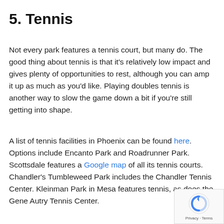5. Tennis
Not every park features a tennis court, but many do. The good thing about tennis is that it's relatively low impact and gives plenty of opportunities to rest, although you can amp it up as much as you'd like. Playing doubles tennis is another way to slow the game down a bit if you're still getting into shape.
A list of tennis facilities in Phoenix can be found here. Options include Encanto Park and Roadrunner Park. Scottsdale features a Google map of all its tennis courts. Chandler's Tumbleweed Park includes the Chandler Tennis Center. Kleinman Park in Mesa features tennis, as does the Gene Autry Tennis Center.